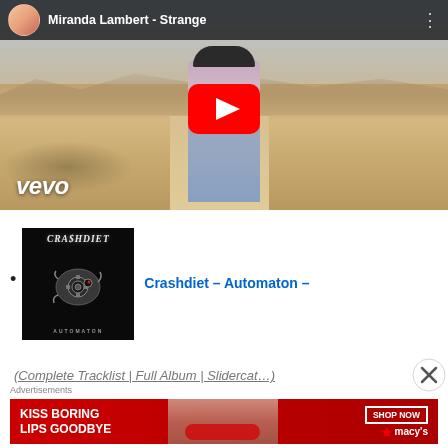[Figure (screenshot): YouTube video embed thumbnail for Miranda Lambert - Strange (Vevo). Shows woman in desert landscape with black hat and pink jacket, YouTube play button overlay, Vevo logo bottom left.]
[Figure (photo): Crashdiet Automaton album art - dark background with mechanical/steampunk fish creature, band name in metallic text at top, album title AUTOMATON at bottom.]
Crashdiet – Automaton –
(partially visible cut-off italic underlined text)
Advertisements
[Figure (screenshot): Macy's advertisement banner: red background, woman's face with red lips on right side, text: KISS BORING LIPS GOODBYE, SHOP NOW button, Macy's star logo]